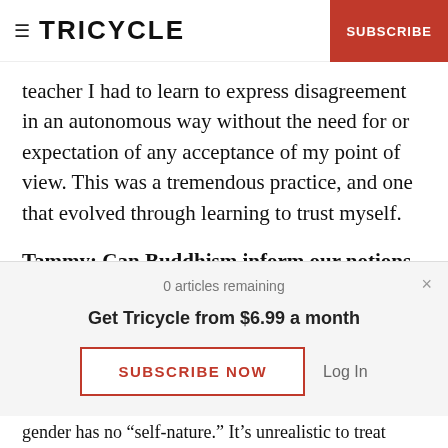TRICYCLE | SUBSCRIBE
teacher I had to learn to express disagreement in an autonomous way without the need for or expectation of any acceptance of my point of view. This was a tremendous practice, and one that evolved through learning to trust myself.
Tammy: Can Buddhism inform our notions of gender identity, how we identify ourselves in terms of gender? There’s a strong streak of anti-
0 articles remaining
Get Tricycle from $6.99 a month
SUBSCRIBE NOW
Log In
gender has no “self-nature.” It’s unrealistic to treat